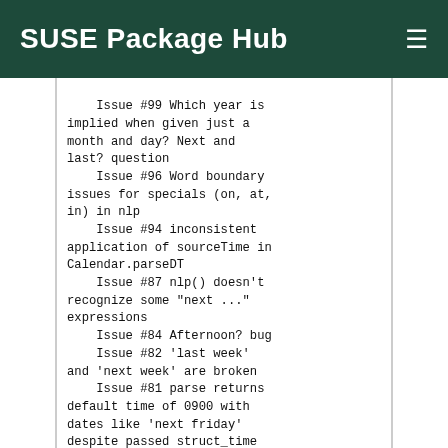SUSE Package Hub
Issue #99 Which year is implied when given just a month and day? Next and last? question
    Issue #96 Word boundary issues for specials (on, at, in) in nlp
    Issue #94 inconsistent application of sourceTime in Calendar.parseDT
    Issue #87 nlp() doesn't recognize some "next ..." expressions
    Issue #84 Afternoon? bug
    Issue #82 'last week' and 'next week' are broken
    Issue #81 parse returns default time of 0900 with dates like 'next friday' despite passed struct_time bug
    Issue #78 Link for Travis in README is wrong
    Issue #72 Enable travis
    Issue #71 Calendar() class can not be initialized 1.4 (it's fine)
    Issue #66 Unexpected struct_time flag with Calendar.parse on HTML <a href> string
    Issue #65 NLP false positives
    Issue #63 Supporting